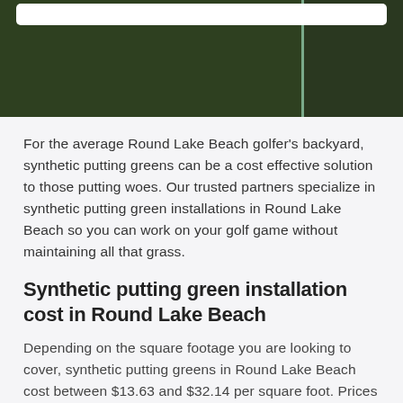[Figure (photo): Dark green golf putting green background image with a vertical teal/light green dividing line, and a white rounded rectangular bar at the top]
For the average Round Lake Beach golfer's backyard, synthetic putting greens can be a cost effective solution to those putting woes. Our trusted partners specialize in synthetic putting green installations in Round Lake Beach so you can work on your golf game without maintaining all that grass.
Synthetic putting green installation cost in Round Lake Beach
Depending on the square footage you are looking to cover, synthetic putting greens in Round Lake Beach cost between $13.63 and $32.14 per square foot. Prices are all-inclusive of design, materials, installation, but can vary greatly depending on the type of turf you choose.
Here is an average cost breakdown in Round Lake Beach: